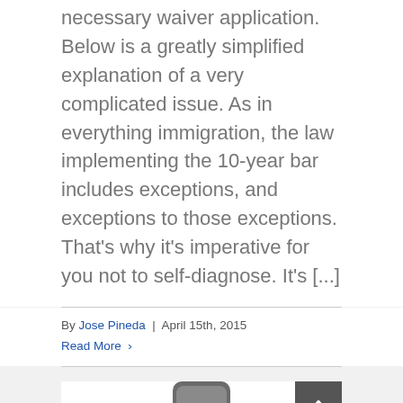necessary waiver application. Below is a greatly simplified explanation of a very complicated issue. As in everything immigration, the law implementing the 10-year bar includes exceptions, and exceptions to those exceptions. That's why it's imperative for you not to self-diagnose. It's [...]
By Jose Pineda | April 15th, 2015
Read More >
[Figure (photo): White card area with partial image of a dark/grey smartphone or device at the bottom center, and a dark grey back-to-top button with an upward chevron arrow in the upper right area.]